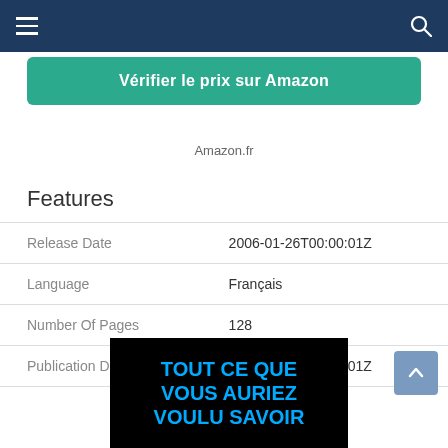Navigation bar with hamburger menu and search icon
[Figure (other): Green teal button labeled 'Vérifier le prix sur Amazon']
Amazon.fr
Features
| Release Date | 2006-01-26T00:00:01Z |
| Language | Français |
| Number Of Pages | 128 |
| Publication Date | 2006-01-26T00:00:01Z |
[Figure (photo): Black background book cover with blue bold text reading 'TOUT CE QUE VOUS AURIEZ VOULU SAVOIR']